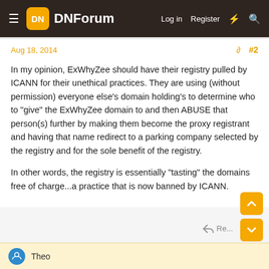DNForum — Log in  Register
Aug 18, 2014  #2
In my opinion, ExWhyZee should have their registry pulled by ICANN for their unethical practices. They are using (without permission) everyone else's domain holding's to determine who to "give" the ExWhyZee domain to and then ABUSE that person(s) further by making them become the proxy registrant and having that name redirect to a parking company selected by the registry and for the sole benefit of the registry.
In other words, the registry is essentially "tasting" the domains free of charge...a practice that is now banned by ICANN.
Theo